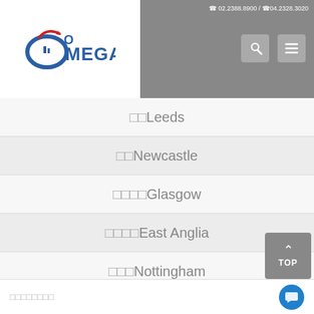☎ 02.2388.8900 / ☎04.2328.3020
[Figure (logo): Omega logo with stylized O and red checkmark/arch above MEGA text]
□□Leeds
□□Newcastle
□□□□Glasgow
□□□□East Anglia
□□□Nottingham
□□□Birmingham
□□□□□□□□